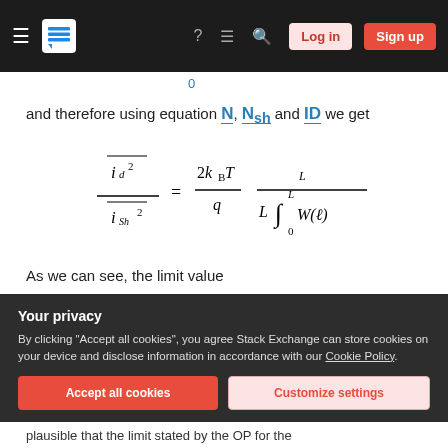Stack Exchange navigation bar with Log in and Sign up buttons
0
and therefore using equation N, Nsh and ID we get
As we can see, the limit value
Your privacy
By clicking "Accept all cookies", you agree Stack Exchange can store cookies on your device and disclose information in accordance with our Cookie Policy.
plausible that the limit stated by the OP for the